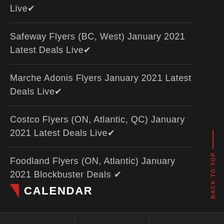Live✔
Safeway Flyers (BC, West) January 2021 Latest Deals Live✔
Marche Adonis Flyers January 2021 Latest Deals Live✔
Costco Flyers (ON, Atlantic, QC) January 2021 Latest Deals Live✔
Foodland Flyers (ON, Atlantic) January 2021 Blockbuster Deals ✔
CALENDAR